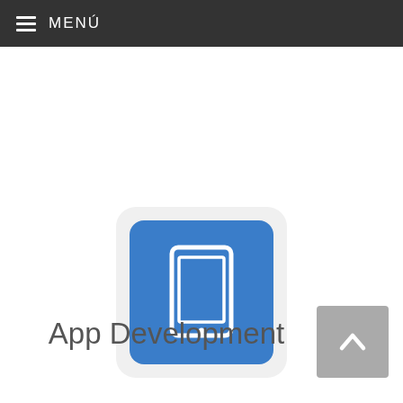MENÚ
[Figure (illustration): Blue rounded square icon with a white tablet/iPad device illustration centered on it, displayed inside a light gray rounded square container]
App Development
[Figure (other): Gray back-to-top button with upward chevron arrow]